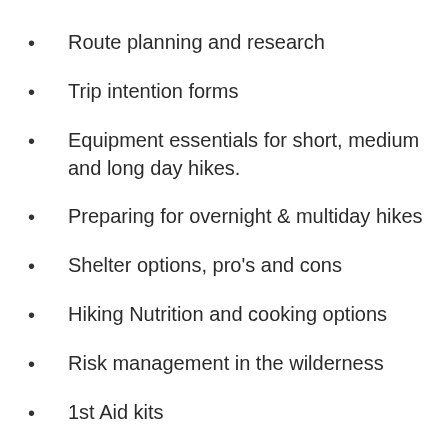Route planning and research
Trip intention forms
Equipment essentials for short, medium and long day hikes.
Preparing for overnight & multiday hikes
Shelter options, pro's and cons
Hiking Nutrition and cooking options
Risk management in the wilderness
1st Aid kits
Snake bite mitigation, treatment and response